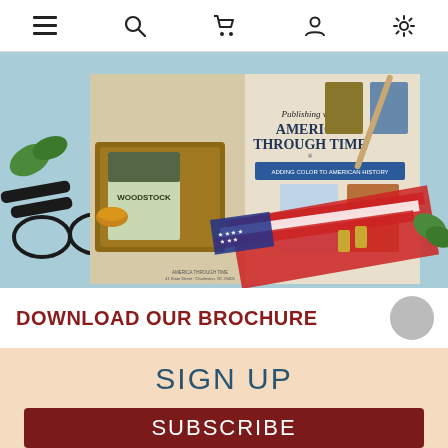≡  🔍  🛒  👤  ⚙
[Figure (photo): Open brochure for 'Publishing with America Through Time' publisher, showing book covers including Woodstock and other titles, American flag, glasses, pen, binder clips, and green plants on a teal background.]
DOWNLOAD OUR BROCHURE
SIGN UP
SUBSCRIBE